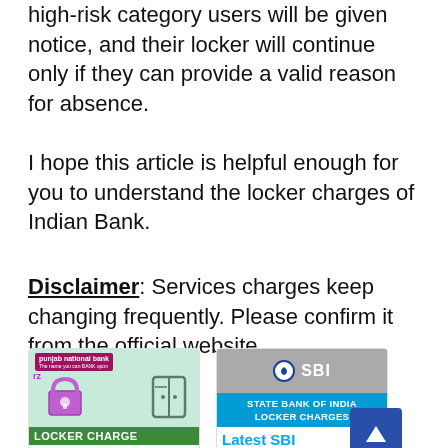high-risk category users will be given notice, and their locker will continue only if they can provide a valid reason for absence.
I hope this article is helpful enough for you to understand the locker charges of Indian Bank.
Disclaimer: Services charges keep changing frequently. Please confirm it from the official website.
[Figure (illustration): PNB locker charges article card with green background, purple padlock, and 'LOCKER CHARGE' label]
Latest
[Figure (illustration): SBI locker charges article card with grey/blue background and 'STATE BANK OF INDIA LOCKER CHARGES' text]
Latest SBI